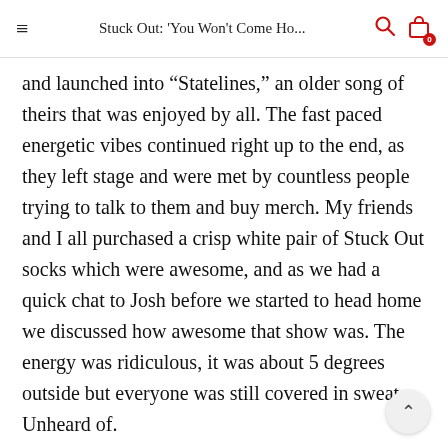Stuck Out: 'You Won't Come Ho...
and launched into “Statelines,” an older song of theirs that was enjoyed by all. The fast paced energetic vibes continued right up to the end, as they left stage and were met by countless people trying to talk to them and buy merch. My friends and I all purchased a crisp white pair of Stuck Out socks which were awesome, and as we had a quick chat to Josh before we started to head home we discussed how awesome that show was. The energy was ridiculous, it was about 5 degrees outside but everyone was still covered in sweat. Unheard of.

To see so many people getting around Stuck Out like